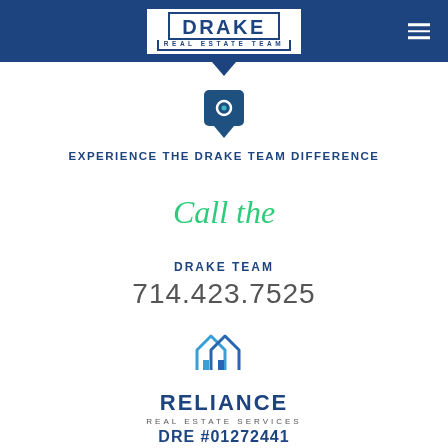[Figure (logo): Drake Real Estate Team logo — white box with blue border containing DRAKE in bold and REAL ESTATE TEAM subtitle, on dark blue navigation bar with hamburger menu icon on right]
[Figure (logo): Location pin icon in dark blue/teal square]
EXPERIENCE THE DRAKE TEAM DIFFERENCE
Call the
DRAKE TEAM
714.423.7525
[Figure (logo): Reliance Real Estate Services logo — two house outline icons in blue gradient]
RELIANCE
REAL ESTATE SERVICES
DRE #01272441